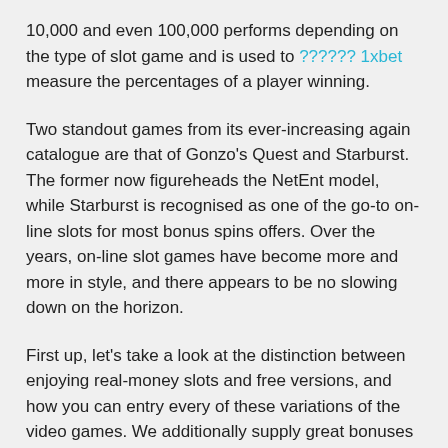10,000 and even 100,000 performs depending on the type of slot game and is used to ?????? 1xbet measure the percentages of a player winning.
Two standout games from its ever-increasing again catalogue are that of Gonzo's Quest and Starburst. The former now figureheads the NetEnt model, while Starburst is recognised as one of the go-to on-line slots for most bonus spins offers. Over the years, on-line slot games have become more and more in style, and there appears to be no slowing down on the horizon.
First up, let's take a look at the distinction between enjoying real-money slots and free versions, and how you can entry every of these variations of the video games. We additionally supply great bonuses for new and existing players including free spins – no deposit required! We additionally offer generous refer-a-friend bonuses for telling your friends about Cashmo and inspiring them to enroll. All bonuses are topic to the Bonus Wagering Requirement and particular game